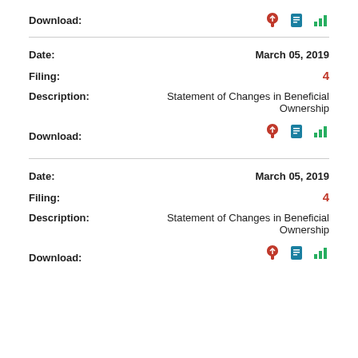Download:
Date: March 05, 2019
Filing: 4
Description: Statement of Changes in Beneficial Ownership
Download:
Date: March 05, 2019
Filing: 4
Description: Statement of Changes in Beneficial Ownership
Download: